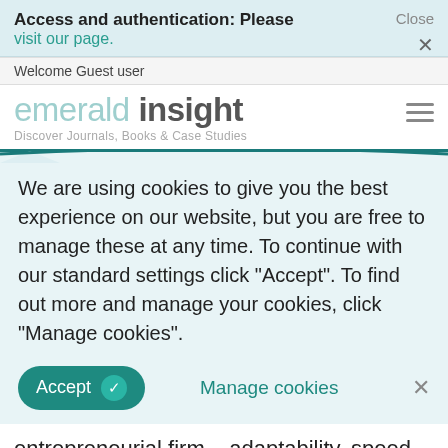Access and authentication: Please visit our page.
Close ×
Welcome Guest user
[Figure (logo): Emerald Insight logo with text 'emerald insight' and subtitle 'Discover Journals, Books & Case Studies']
We are using cookies to give you the best experience on our website, but you are free to manage these at any time. To continue with our standard settings click "Accept". To find out more and manage your cookies, click "Manage cookies".
Accept   Manage cookies   ×
entrepreneurial firm – adaptability, speed, flexibility,